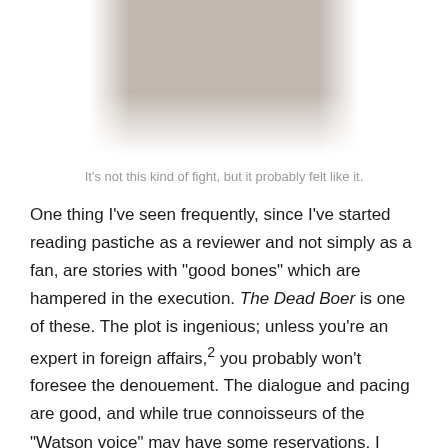[Figure (illustration): A black and white pen-and-ink illustration showing two figures in a physical struggle or fight, drawn in a Victorian style.]
It's not this kind of fight, but it probably felt like it.
One thing I've seen frequently, since I've started reading pastiche as a reviewer and not simply as a fan, are stories with “good bones” which are hampered in the execution. The Dead Boer is one of these. The plot is ingenious; unless you’re an expert in foreign affairs,² you probably won’t foresee the denouement. The dialogue and pacing are good, and while true connoisseurs of the “Watson voice” may have some reservations, I thought Symonds’ effort was decent. There are some fantastic lines and clever ideas. Holmes is in character, and while Watson is